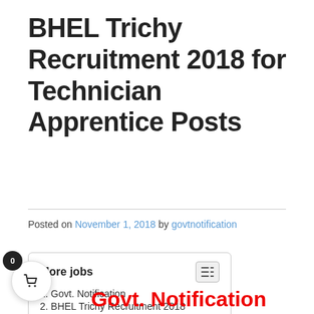BHEL Trichy Recruitment 2018 for Technician Apprentice Posts
Posted on November 1, 2018 by govtnotification
More jobs
1. Govt. Notification
2. BHEL Trichy Recruitment 2018
Govt. Notification